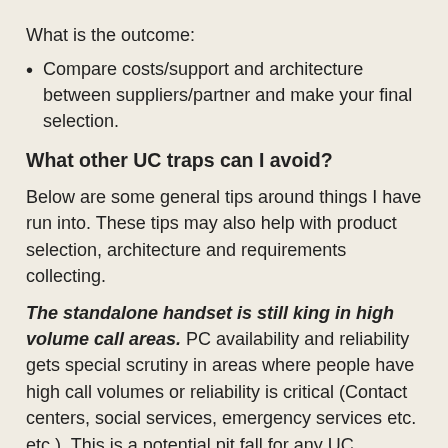What is the outcome:
Compare costs/support and architecture between suppliers/partner and make your final selection.
What other UC traps can I avoid?
Below are some general tips around things I have run into. These tips may also help with product selection, architecture and requirements collecting.
The standalone handset is still king in high volume call areas. PC availability and reliability gets special scrutiny in areas where people have high call volumes or reliability is critical (Contact centers, social services, emergency services etc. etc.). This is a potential pit fall for any UC deployment if there are not alternate options available. Also keep in mind what high call volume areas usually do: answer calls, transfer calls and park calls. If these things are not at least very similar in the new world then stick with a hard phone in high traffic areas. Having to click 4 times, search for a contact just to a do a transfer that someone might have done